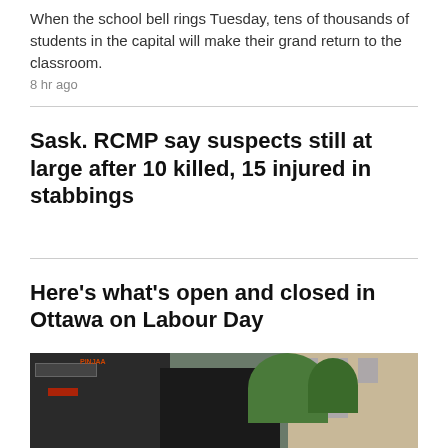When the school bell rings Tuesday, tens of thousands of students in the capital will make their grand return to the classroom.
8 hr ago
Sask. RCMP say suspects still at large after 10 killed, 15 injured in stabbings
Here's what's open and closed in Ottawa on Labour Day
WINDSOR >
[Figure (photo): Street scene photo of Windsor showing storefronts, signs including 'PINJAA', trees on the right, and a multi-storey building in the background.]